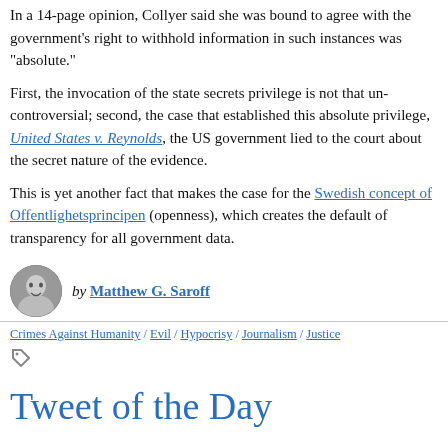In a 14-page opinion, Collyer said she was bound to agree with the government's right to withhold information in such instances was "absolute."
First, the invocation of the state secrets privilege is not that uncontroversial; second, the case that established this absolute privilege, United States v. Reynolds, the US government lied to the court about the secret nature of the evidence.
This is yet another fact that makes the case for the Swedish concept of Offentlighetsprincipen (openness), which creates the default of transparency for all government data.
by Matthew G. Saroff
Crimes Against Humanity / Evil / Hypocrisy / Journalism / Justice
Tweet of the Day
Re the crime of Hiroshima: In one of the cruel ironies of history, defeating global fascism in World War Two required the h